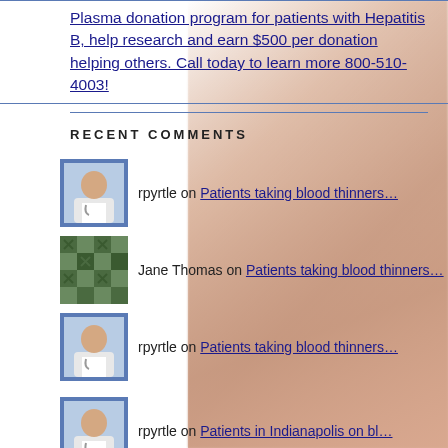Plasma donation program for patients with Hepatitis B, help research and earn $500 per donation helping others. Call today to learn more 800-510-4003!
RECENT COMMENTS
rpyrtle on Patients taking blood thinners…
Jane Thomas on Patients taking blood thinners…
rpyrtle on Patients taking blood thinners…
rpyrtle on Patients in Indianapolis on bl…
Doug Reichner on Patients in Indianapolis on bl